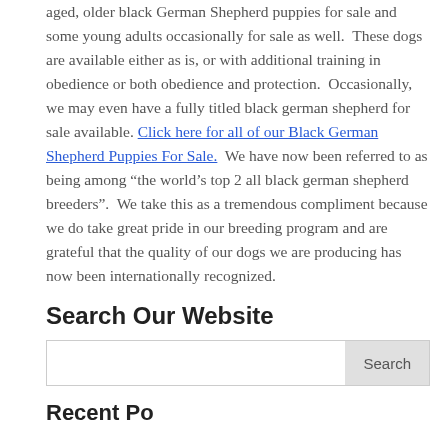aged, older black German Shepherd puppies for sale and some young adults occasionally for sale as well.  These dogs are available either as is, or with additional training in obedience or both obedience and protection.  Occasionally, we may even have a fully titled black german shepherd for sale available.  Click here for all of our Black German Shepherd Puppies For Sale.  We have now been referred to as being among “the world’s top 2 all black german shepherd breeders”.  We take this as a tremendous compliment because we do take great pride in our breeding program and are grateful that the quality of our dogs we are producing has now been internationally recognized.
Search Our Website
Recent Posts